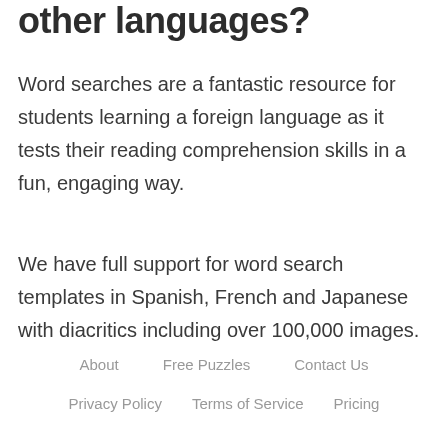other languages?
Word searches are a fantastic resource for students learning a foreign language as it tests their reading comprehension skills in a fun, engaging way.
We have full support for word search templates in Spanish, French and Japanese with diacritics including over 100,000 images.
About   Free Puzzles   Contact Us   Privacy Policy   Terms of Service   Pricing